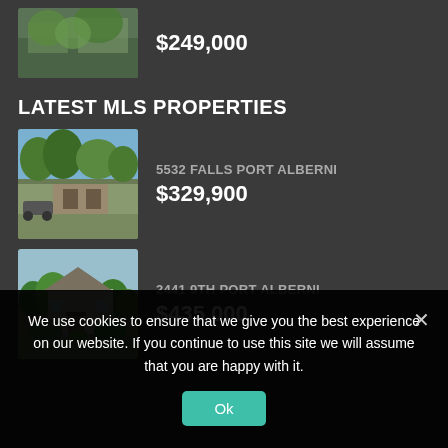[Figure (photo): Property photo with green trees]
$249,000
LATEST MLS PROPERTIES
[Figure (photo): 5532 Falls Port Alberni property photo]
5532 FALLS PORT ALBERNI
$329,900
[Figure (photo): 2441 9th Port Alberni property photo]
2441 9TH PORT ALBERNI
$435,000
We use cookies to ensure that we give you the best experience on our website. If you continue to use this site we will assume that you are happy with it.